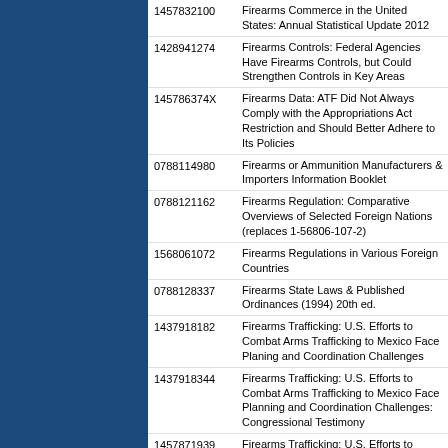| ISBN | Title |
| --- | --- |
| 1457832100 | Firearms Commerce in the United States: Annual Statistical Update 2012 |
| 1428941274 | Firearms Controls: Federal Agencies Have Firearms Controls, but Could Strengthen Controls in Key Areas |
| 145786374X | Firearms Data: ATF Did Not Always Comply with the Appropriations Act Restriction and Should Better Adhere to Its Policies |
| 0788114980 | Firearms or Ammunition Manufacturers & Importers Information Booklet |
| 0788121162 | Firearms Regulation: Comparative Overviews of Selected Foreign Nations (replaces 1-56806-107-2) |
| 1568061072 | Firearms Regulations in Various Foreign Countries |
| 0788128337 | Firearms State Laws & Published Ordinances (1994) 20th ed. |
| 1437918182 | Firearms Trafficking: U.S. Efforts to Combat Arms Trafficking to Mexico Face Planing and Coordination Challenges |
| 1437918344 | Firearms Trafficking: U.S. Efforts to Combat Arms Trafficking to Mexico Face Planning and Coordination Challenges: Congressional Testimony |
| 1457871939 | Firearms Trafficking: U.S. Efforts to Combat Firearms Trafficking to Mexico Have Improved, but Some Collaboration Challenges Remain |
| 788159291 | Fired Up! From Corporate Kiss-Off to Entrepreneurial Kick-Off: Take Charge of Your Destiny in Our Downsizing World |
| 0756717086 | Firefighter Fatalities in the U.S. in 1999 |
| 0756743303 | Firefighter Fatality Retrospective Study: 1990-2000 |
| 0788112287 | Firepower in Limited War |